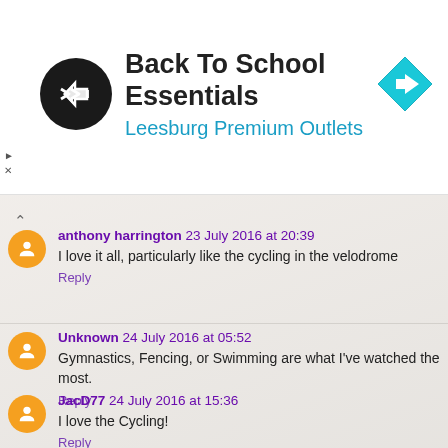[Figure (screenshot): Ad banner for Back To School Essentials at Leesburg Premium Outlets with circular logo and direction arrow icon]
anthony harrington 23 July 2016 at 20:39
I love it all, particularly like the cycling in the velodrome
Reply
Unknown 24 July 2016 at 05:52
Gymnastics, Fencing, or Swimming are what I've watched the most.
Reply
JacD77 24 July 2016 at 15:36
I love the Cycling!
Reply